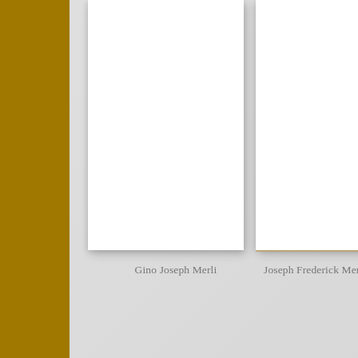[Figure (illustration): Gold/amber vertical bar on the left side of the page, with two white portrait-oriented cards/pages displayed side by side on a light gray background. Below the cards are the names 'Gino Joseph Merli' and 'Joseph Frederick Merz' (partially visible).]
Gino Joseph Merli
Joseph Frederick Merz